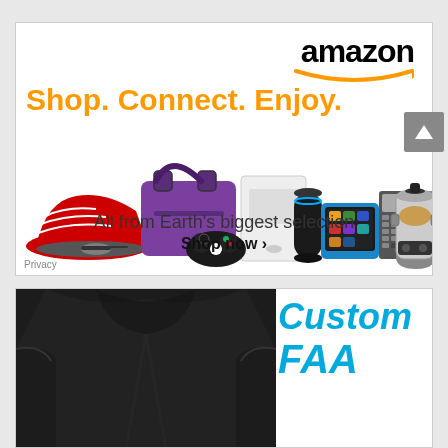[Figure (illustration): Amazon advertisement banner. Shows Amazon logo in black bold text with orange smile arrow underneath. Orange text reads 'Shop. Connect. Enjoy.' Below are product images including red sneakers, purple bag, Xbox controller, Amazon Echo speaker, Kindle Fire tablet, calculator device, and slow cooker. Bottom text reads 'All from Earth's biggest selection' and 'Shop now' with right arrow. Privacy link in bottom left corner.]
[Figure (illustration): Partial advertisement showing a black t-shirt on left side and cyan/blue bold italic text reading 'Custom' and 'FAA' on the right side against white background.]